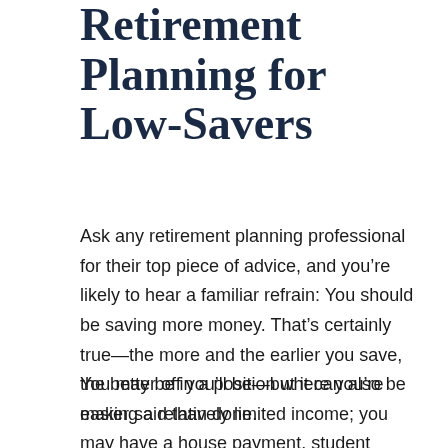Retirement Planning for Low-Savers
Ask any retirement planning professional for their top piece of advice, and you’re likely to hear a familiar refrain: You should be saving more money. That’s certainly true—the more and the earlier you save, the better off you’ll be—but it can also be easier said than done.
You may be in a position where you’re making a relatively limited income; you may have a house payment, student loans, credit card debts, and healthcare costs. You may also have a number